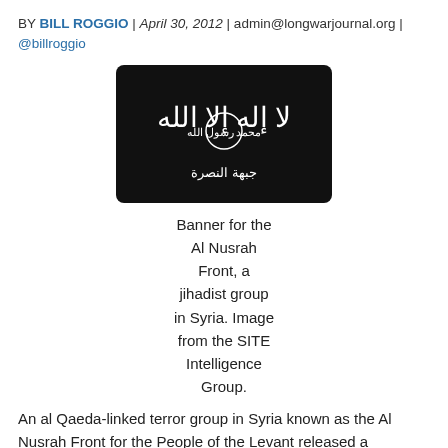BY BILL ROGGIO | April 30, 2012 | admin@longwarjournal.org | @billroggio
[Figure (illustration): Black flag banner with white Arabic calligraphy for the Al Nusrah Front]
Banner for the Al Nusrah Front, a jihadist group in Syria. Image from the SITE Intelligence Group.
An al Qaeda-linked terror group in Syria known as the Al Nusrah Front for the People of the Levant released a statement yesterday claiming credit for the April 27 suicide attack in Damascus that killed 11 people and wounded 28 more. The Al Nusrah Front is one of two Islamist groups to have announced